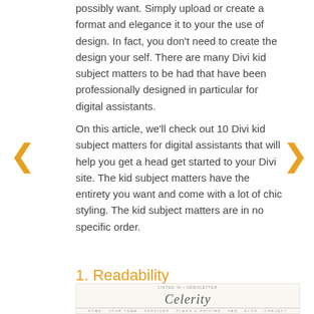possibly want. Simply upload or create a format and elegance it to your the use of design. In fact, you don't need to create the design your self. There are many Divi kid subject matters to be had that have been professionally designed in particular for digital assistants.
On this article, we'll check out 10 Divi kid subject matters for digital assistants that will help you get a head get started to your Divi site. The kid subject matters have the entirety you want and come with a lot of chic styling. The kid subject matters are in no specific order.
1. Readability
[Figure (screenshot): Screenshot of a website for Virtual Assistant Services, showing a navigation bar, cursive logo, and a woman in professional attire with the text 'Virtual Assistant Services']